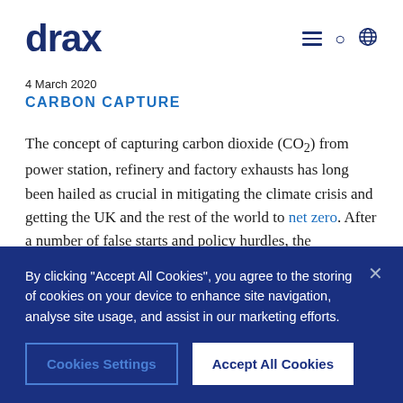drax
4 March 2020
CARBON CAPTURE
The concept of capturing carbon dioxide (CO₂) from power station, refinery and factory exhausts has long been hailed as crucial in mitigating the climate crisis and getting the UK and the rest of the world to net zero. After a number of false starts and policy hurdles, the
By clicking "Accept All Cookies", you agree to the storing of cookies on your device to enhance site navigation, analyse site usage, and assist in our marketing efforts.
Cookies Settings
Accept All Cookies